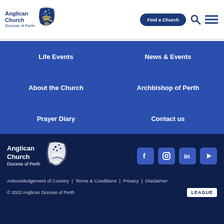[Figure (logo): Anglican Church Diocese of Perth logo with cross/flag icon in navy and gold]
Find a Church
Life Events
News & Events
About the Church
Archbishop of Perth
Prayer Diary
Contact us
[Figure (logo): Anglican Church Diocese of Perth white logo in footer]
[Figure (infographic): Social media icons: Facebook, Instagram, LinkedIn, YouTube]
Acknowledgement of Country  |  Terms & Conditions  |  Privacy  |  Disclaimer
© 2022 Anglican Diocese of Perth